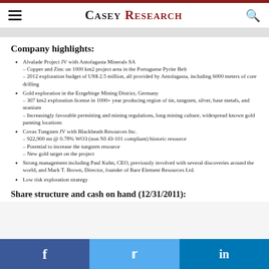Casey Research
Company highlights:
Alvalade Project JV with Antofagasta Minerals SA – Copper and Zinc on 1000 km2 project area in the Portuguese Pyrite Belt – 2012 exploration budget of US$ 2.5 million, all provided by Antofagasta, including 6000 meters of core drilling
Gold exploration in the Erzgebirge Mining District, Germany – 307 km2 exploration license in 1000+ year producing region of tin, tungsten, silver, base metals, and uranium – Increasingly favorable permitting and mining regulations, long mining culture, widespread known gold panning locations
Covas Tungsten JV with Blackheath Resources Inc. – 922,900 mt @ 0.78% WO3 (non NI 43-101 compliant) historic resource – Potential to increase the tungsten resource – New gold target on the project
Strong management including Paul Kuhn, CEO, previously involved with several discoveries around the world, and Mark T. Brown, Director, founder of Rare Element Resources Ltd.
Low risk exploration strategy
Share structure and cash on hand (12/31/2011):